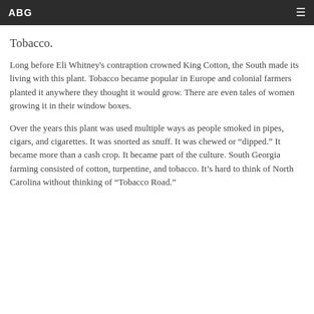ABG
…the pilgrims would arrive at Plymouth. By that time, Virginia colonists had discovered their cash crop.
Tobacco.
Long before Eli Whitney's contraption crowned King Cotton, the South made its living with this plant. Tobacco became popular in Europe and colonial farmers planted it anywhere they thought it would grow. There are even tales of women growing it in their window boxes.
Over the years this plant was used multiple ways as people smoked in pipes, cigars, and cigarettes. It was snorted as snuff. It was chewed or "dipped." It became more than a cash crop. It became part of the culture. South Georgia farming consisted of cotton, turpentine, and tobacco. It's hard to think of North Carolina without thinking of "Tobacco Road."